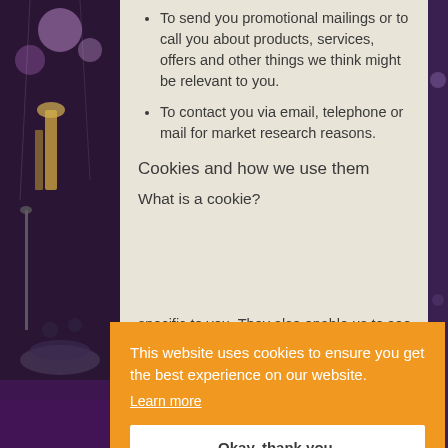To send you promotional mailings or to call you about products, services, offers and other things we think might be relevant to you.
To contact you via email, telephone or mail for market research reasons.
Cookies and how we use them
What is a cookie?
This website uses cookies to ensure you get the best experience on our website.
Learn more
Okay, thank you.
specific to you. They also enable us to see